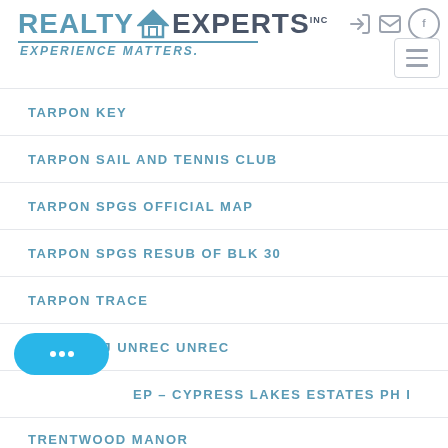[Figure (logo): Realty Experts Inc logo with house icon and tagline EXPERIENCE MATTERS.]
TARPON KEY
TARPON SAIL AND TENNIS CLUB
TARPON SPGS OFFICIAL MAP
TARPON SPGS RESUB OF BLK 30
TARPON TRACE
TOOKE O J UNREC UNREC
EP - CYPRESS LAKES ESTATES PH I
TRENTWOOD MANOR